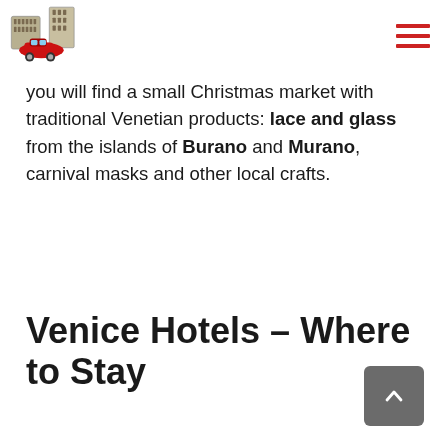[Logo: Italy travel site with Colosseum and red car illustration] [Hamburger menu icon]
you will find a small Christmas market with traditional Venetian products: lace and glass from the islands of Burano and Murano, carnival masks and other local crafts.
Venice Hotels – Where to Stay